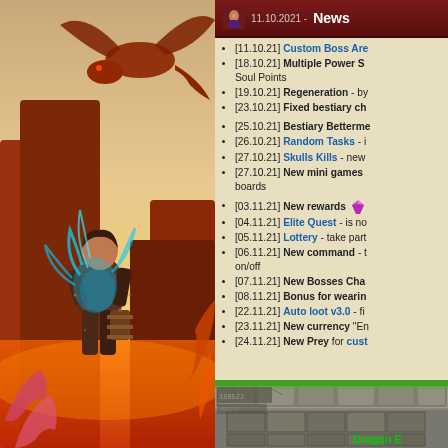[Figure (illustration): Fantasy game artwork showing a warrior with blue flame energy fighting creatures, with a dragon in the background]
11.10.2021 - News
[11.10.21] Custom Boss Are...
[18.10.21] Multiple Power S... Soul Points
[19.10.21] Regeneration - by...
[23.10.21] Fixed bestiary ch...
[25.10.21] Bestiary Betterme...
[26.10.21] Random Tasks - i...
[27.10.21] Skulls Kills - new...
[27.10.21] New mini games... boards
[03.11.21] New rewards
[04.11.21] Elite Quest - is no...
[05.11.21] Lottery - take part...
[06.11.21] New command - t... on/off
[07.11.21] New Bosses Cha...
[08.11.21] Bonus for wearin...
[22.11.21] Auto loot v3.0 - fi...
[23.11.21] New currency "En...
[24.11.21] New Prey for cust...
[Figure (screenshot): Game screenshot showing a dungeon/stone floor environment with green text 'Dragon E...' at bottom right]